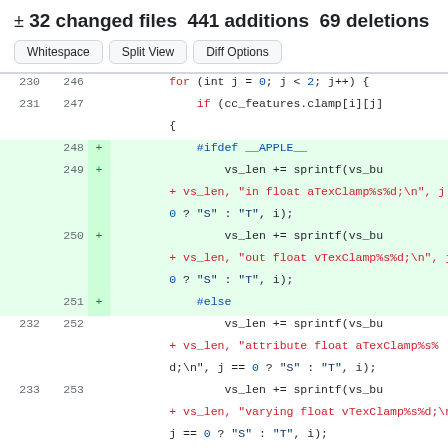± 32 changed files  441 additions  69 deletions
[Figure (screenshot): GitHub diff view showing code changes with added lines (green background) and unchanged lines, displaying C/GLSL shader code with preprocessor directives #ifdef __APPLE__, vs_len += sprintf calls, and #else/#endif blocks across lines 230-255]
230  246  for (int j = 0; j < 2; j++) {
231  247  if (cc_features.clamp[i][j]
{
248  +  #ifdef __APPLE__
249  +  vs_len += sprintf(vs_bu
+ vs_len, "in float aTexClamp%s%d;\n", j == 0 ? "S" : "T", i);
250  +  vs_len += sprintf(vs_bu
+ vs_len, "out float vTexClamp%s%d;\n", j = 0 ? "S" : "T", i);
251  +  #else
232  252  vs_len += sprintf(vs_bu
+ vs_len, "attribute float aTexClamp%s%d;\n", j == 0 ? "S" : "T", i);
233  253  vs_len += sprintf(vs_bu
+ vs_len, "varying float vTexClamp%s%d;\n", j == 0 ? "S" : "T", i);
254  +  #endif
234  255  num_floats += 1;